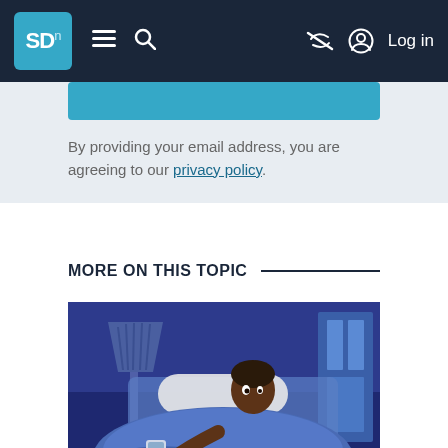SDn | Menu | Search | Log in
By providing your email address, you are agreeing to our privacy policy.
MORE ON THIS TOPIC
[Figure (illustration): Illustration of a person lying in bed at night, awake with wide eyes, partially covered by a blue blanket, with a phone and lamp on a bedside table and a window in the background.]
ARTICLE
My Experience With Pets and Sleep Paralysis